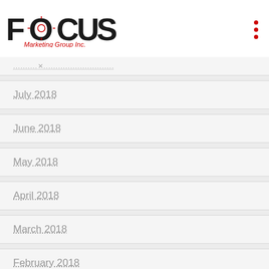FOCUS Marketing Group Inc.
July 2018
June 2018
May 2018
April 2018
March 2018
February 2018
January 2018
December 2017
November 2017